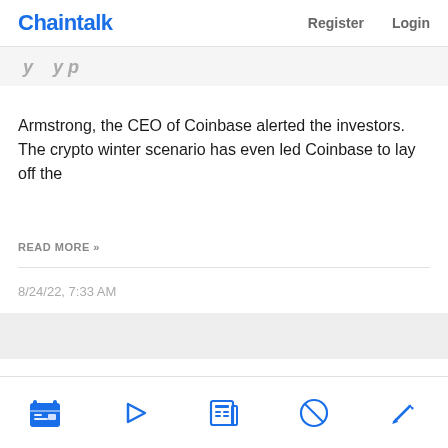Chaintalk   Register   Login
Armstrong, the CEO of Coinbase alerted the investors. The crypto winter scenario has even led Coinbase to lay off the
READ MORE »
8/24/22, 7:33 AM
[Figure (other): Bottom navigation bar with 5 icon buttons: calendar/news feed icon (blue filled), play button icon (blue outline), newspaper icon (blue outline), compass/no icon (blue outline), pickaxe/tools icon (blue outline)]